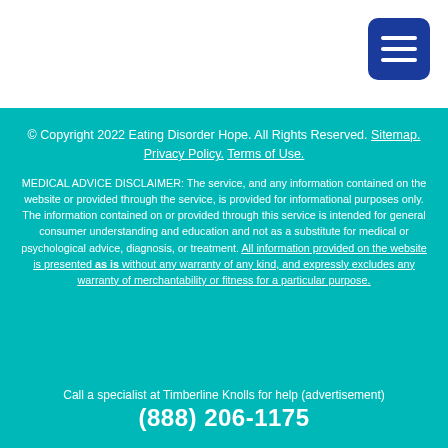[Figure (other): Navigation menu hamburger button icon (three horizontal white lines on dark blue rounded square background)]
© Copyright 2022 Eating Disorder Hope. All Rights Reserved. Sitemap. Privacy Policy. Terms of Use.
MEDICAL ADVICE DISCLAIMER: The service, and any information contained on the website or provided through the service, is provided for informational purposes only. The information contained on or provided through this service is intended for general consumer understanding and education and not as a substitute for medical or psychological advice, diagnosis, or treatment. All information provided on the website is presented as is without any warranty of any kind, and expressly excludes any warranty of merchantability or fitness for a particular purpose.
Call a specialist at Timberline Knolls for help (advertisement)
(888) 206-1175